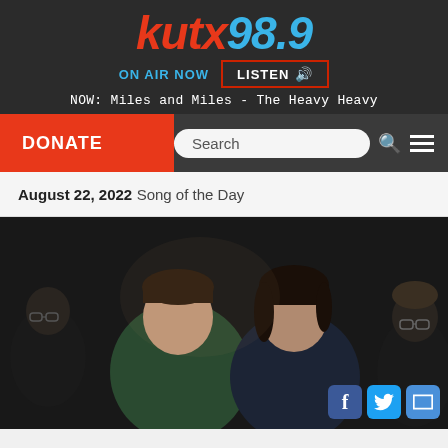[Figure (logo): KUTX 98.9 radio station logo in red italic and blue italic text on dark background]
ON AIR NOW   LISTEN 🔊
NOW: Miles and Miles - The Heavy Heavy
DONATE
Search
August 22, 2022   Song of the Day
[Figure (photo): Band photo showing four people — two women in center foreground, a man with glasses on the left partially visible, and a person with glasses on the right edge — against a dark background. The left woman wears a green top.]